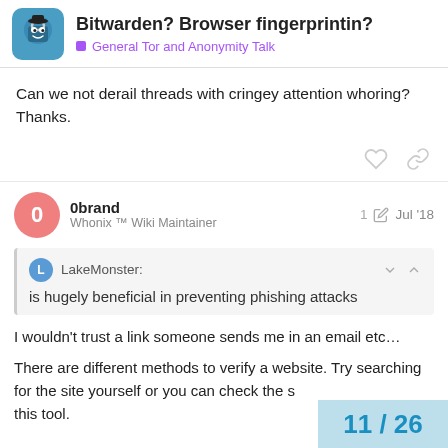Bitwarden? Browser fingerprintin? — General Tor and Anonymity Talk
Can we not derail threads with cringey attention whoring? Thanks.
0brand — Whonix ™ Wiki Maintainer — 1 edit — Jul '18
LakeMonster: is hugely beneficial in preventing phishing attacks
I wouldn't trust a link someone sends me in an email etc…
There are different methods to verify a website. Try searching for the site yourself or you can check the s this tool.
11 / 26